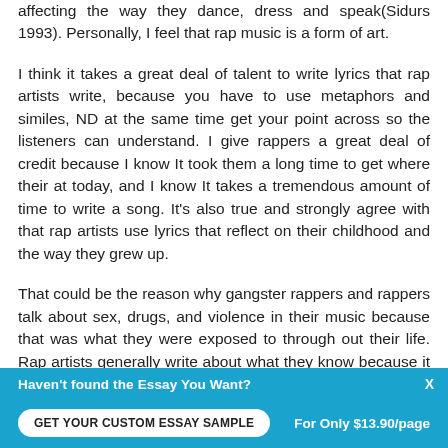affecting the way they dance, dress and speak(Sidurs 1993). Personally, I feel that rap music is a form of art.
I think it takes a great deal of talent to write lyrics that rap artists write, because you have to use metaphors and similes, ND at the same time get your point across so the listeners can understand. I give rappers a great deal of credit because I know It took them a long time to get where their at today, and I know It takes a tremendous amount of time to write a song. It's also true and strongly agree with that rap artists use lyrics that reflect on their childhood and the way they grew up.
That could be the reason why gangster rappers and rappers talk about sex, drugs, and violence in their music because that was what they were exposed to through out their life. Rap artists generally write about what they know because it is easier to write about things and situations that you know, and
Haven't found the Essay You Want?
GET YOUR CUSTOM ESSAY SAMPLE
For Only $13.90/page